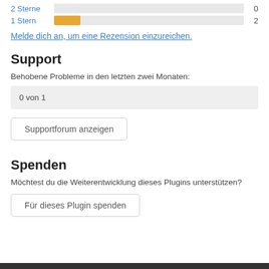2 Sterne  0
1 Stern  2
Melde dich an, um eine Rezension einzureichen.
Support
Behobene Probleme in den letzten zwei Monaten:
0 von 1
Supportforum anzeigen
Spenden
Möchtest du die Weiterentwicklung dieses Plugins unterstützen?
Für dieses Plugin spenden